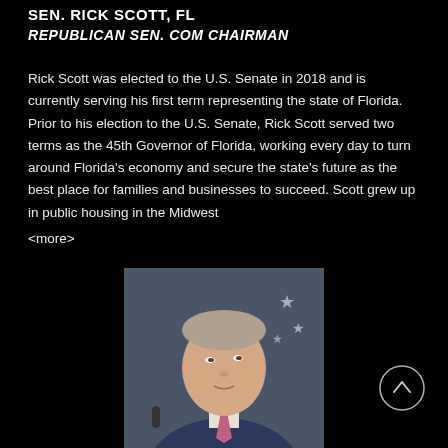SEN. RICK SCOTT, FL
REPUBLICAN SEN. COM CHAIRMAN
Rick Scott was elected to the U.S. Senate in 2018 and is currently serving his first term representing the state of Florida. Prior to his election to the U.S. Senate, Rick Scott served two terms as the 45th Governor of Florida, working every day to turn around Florida's economy and secure the state's future as the best place for families and businesses to succeed. Scott grew up in public housing in the Midwest <more>
[Figure (photo): Portrait photo of a man in a blue suit with a pink tie, looking upward, with an American flag in the background]
[Figure (other): Circular scroll-up button icon with an upward arrow]